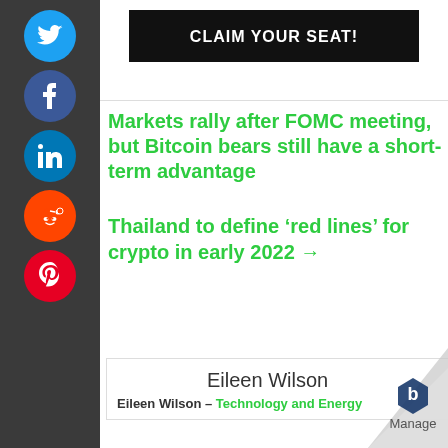[Figure (other): Vertical social media sidebar with icons for Twitter, Facebook, LinkedIn, Reddit, and Pinterest on dark grey background]
[Figure (other): Black banner button with text CLAIM YOUR SEAT!]
Markets rally after FOMC meeting, but Bitcoin bears still have a short-term advantage
Thailand to define ‘red lines’ for crypto in early 2022 →
Eileen Wilson
Eileen Wilson – Technology and Energy